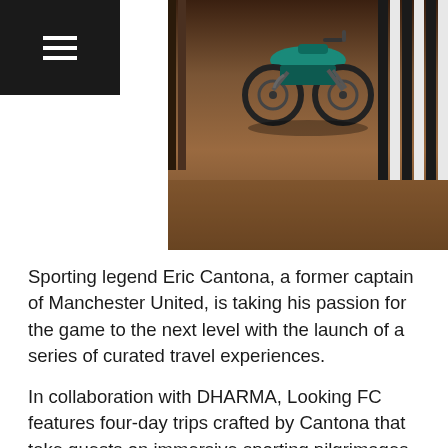[Figure (photo): Motorcycle (appears to be an electric or modern dirt bike with teal/green accents) photographed between vertical black and white striped columns on a brown/reddish floor, viewed from above and behind.]
Sporting legend Eric Cantona, a former captain of Manchester United, is taking his passion for the game to the next level with the launch of a series of curated travel experiences.
In collaboration with DHARMA, Looking FC features four-day trips crafted by Cantona that take guests on immersive sporting pilgrimages to explore football — that's soccer not American football — cities around the globe through the lens of the world's most vibrant clubs and their loyal